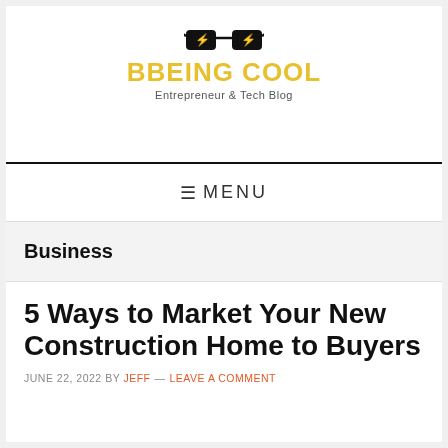BBEING COOL — Entrepreneur & Tech Blog
≡ MENU
Business
5 Ways to Market Your New Construction Home to Buyers
JUNE 22, 2022 BY JEFF — LEAVE A COMMENT